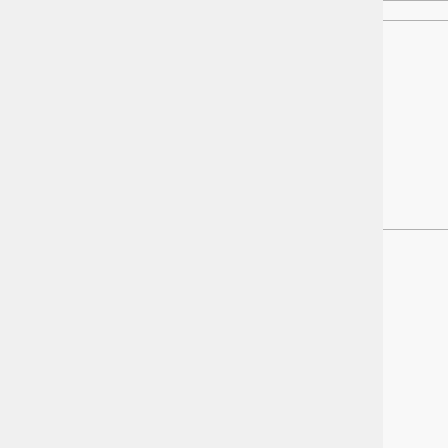|  | Observations |
| --- | --- |
|  |  |
| Disorder of labor and delivery ↗ |  |
| Obstetric Procedure ↗ |  |
| Post partum disorder ↗ |  |
| Birth ↗ |  |